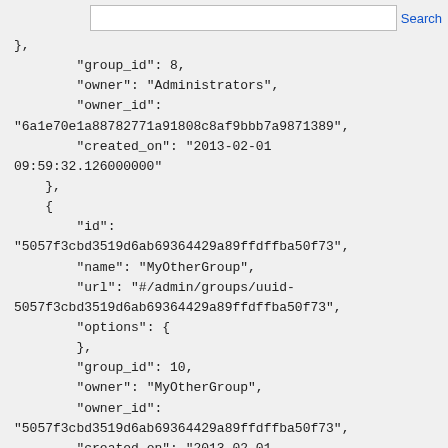Search (input bar)
},
        "group_id": 8,
        "owner": "Administrators",
        "owner_id":
"6a1e70e1a88782771a91808c8af9bbb7a9871389",
        "created_on": "2013-02-01
09:59:32.126000000"
    },
    {
        "id":
"5057f3cbd3519d6ab69364429a89ffdffba50f73",
        "name": "MyOtherGroup",
        "url": "#/admin/groups/uuid-5057f3cbd3519d6ab69364429a89ffdffba50f73",
        "options": {
        },
        "group_id": 10,
        "owner": "MyOtherGroup",
        "owner_id":
"5057f3cbd3519d6ab69364429a89ffdffba50f73",
        "created_on": "2013-02-01
09:59:32.126000000"
    }